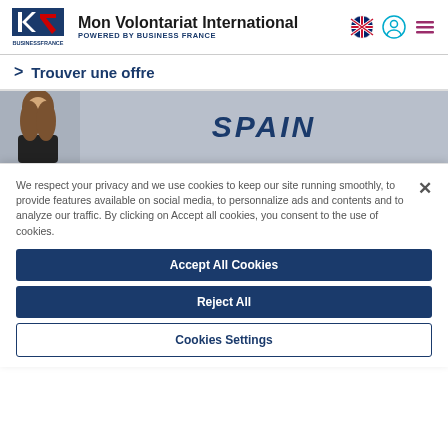Mon Volontariat International — POWERED BY BUSINESS FRANCE
> Trouver une offre
[Figure (photo): Spain banner with a young woman and the text SPAIN in bold italic dark blue letters on a grey-blue background]
We respect your privacy and we use cookies to keep our site running smoothly, to provide features available on social media, to personnalize ads and contents and to analyze our traffic. By clicking on Accept all cookies, you consent to the use of cookies.
Accept All Cookies
Reject All
Cookies Settings